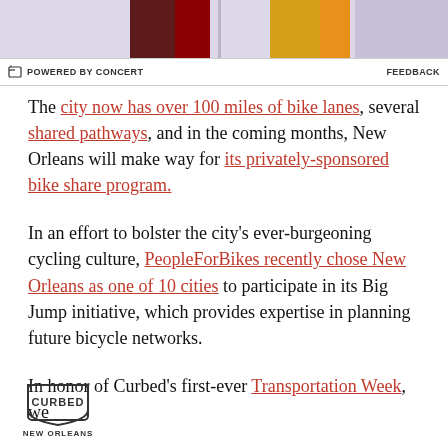[Figure (photo): Partial view of colorful bike-related imagery at top of page, cut off — shows dark red, yellow and other colored bike parts against a light lavender/grey background]
POWERED BY CONCERT   FEEDBACK
The city now has over 100 miles of bike lanes, several shared pathways, and in the coming months, New Orleans will make way for its privately-sponsored bike share program.
In an effort to bolster the city's ever-burgeoning cycling culture, PeopleForBikes recently chose New Orleans as one of 10 cities to participate in its Big Jump initiative, which provides expertise in planning future bicycle networks.
In honor of Curbed's first-ever Transportation Week, we
[Figure (logo): Curbed New Orleans logo — hexagonal badge with 'CURBED' text and 'NEW ORLEANS' below]